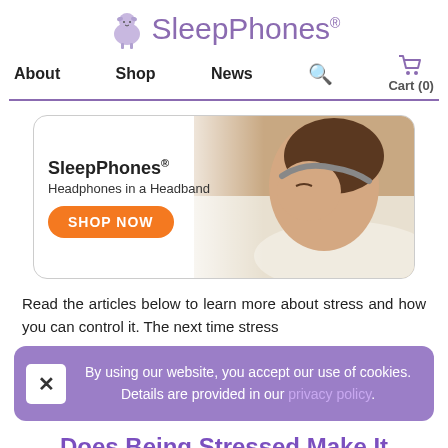SleepPhones® — About  Shop  News  Cart (0)
[Figure (photo): SleepPhones advertisement banner showing a woman sleeping with headband, with text 'SleepPhones® Headphones in a Headband' and an orange 'SHOP NOW' button]
Read the articles below to learn more about stress and how you can control it. The next time stress
By using our website, you accept our use of cookies. Details are provided in our privacy policy.
Does Being Stressed Make It